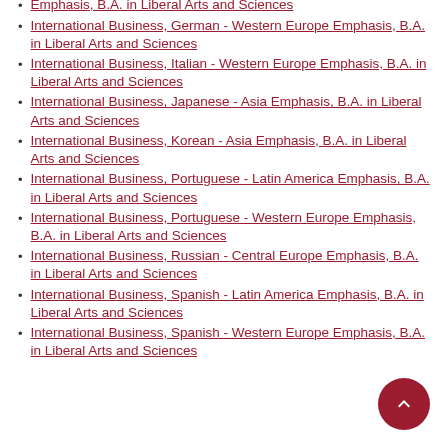Emphasis, B.A. in Liberal Arts and Sciences
International Business, German - Western Europe Emphasis, B.A. in Liberal Arts and Sciences
International Business, Italian - Western Europe Emphasis, B.A. in Liberal Arts and Sciences
International Business, Japanese - Asia Emphasis, B.A. in Liberal Arts and Sciences
International Business, Korean - Asia Emphasis, B.A. in Liberal Arts and Sciences
International Business, Portuguese - Latin America Emphasis, B.A. in Liberal Arts and Sciences
International Business, Portuguese - Western Europe Emphasis, B.A. in Liberal Arts and Sciences
International Business, Russian - Central Europe Emphasis, B.A. in Liberal Arts and Sciences
International Business, Spanish - Latin America Emphasis, B.A. in Liberal Arts and Sciences
International Business, Spanish - Western Europe Emphasis, B.A. in Liberal Arts and Sciences